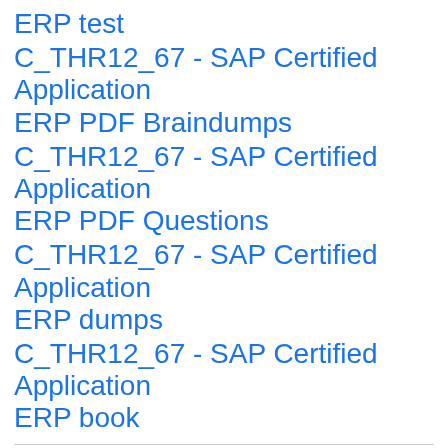ERP test
C_THR12_67 - SAP Certified Application ERP PDF Braindumps
C_THR12_67 - SAP Certified Application ERP PDF Questions
C_THR12_67 - SAP Certified Application ERP dumps
C_THR12_67 - SAP Certified Application ERP book
Best Certification test Dumps You B
C_THR12_67 latest all about C_THR1...